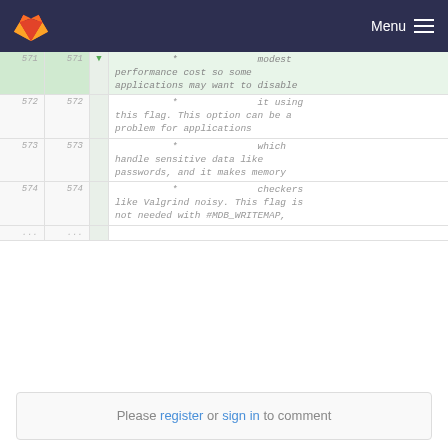Menu
| old_line | new_line | expand | code |
| --- | --- | --- | --- |
| 571 | 571 | ▼ | * modest performance cost so some applications may want to disable |
| 572 | 572 |  | * it using this flag. This option can be a problem for applications |
| 573 | 573 |  | * which handle sensitive data like passwords, and it makes memory |
| 574 | 574 |  | * checkers like Valgrind noisy. This flag is not needed with #MDB_WRITEMAP, |
| ... | ... |  |  |
Please register or sign in to comment